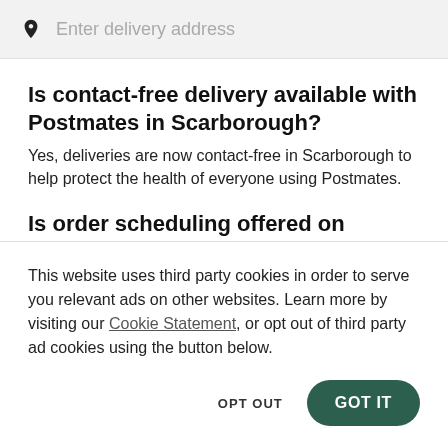[Figure (screenshot): Search bar with location pin icon and placeholder text 'Enter delivery address' on a light gray background]
Is contact-free delivery available with Postmates in Scarborough?
Yes, deliveries are now contact-free in Scarborough to help protect the health of everyone using Postmates.
Is order scheduling offered on Postmates in Scarborough?
This website uses third party cookies in order to serve you relevant ads on other websites. Learn more by visiting our Cookie Statement, or opt out of third party ad cookies using the button below.